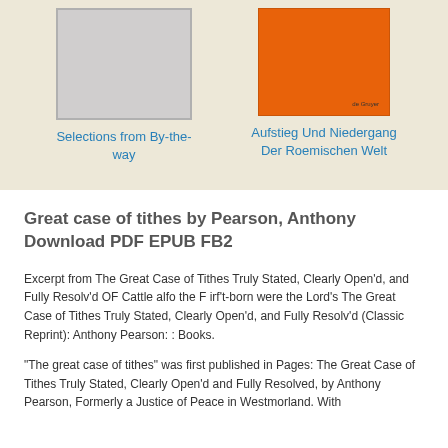[Figure (illustration): Gray book cover placeholder image]
Selections from By-the-way
[Figure (illustration): Orange book cover with 'de Gruyer' text]
Aufstieg Und Niedergang Der Roemischen Welt
Great case of tithes by Pearson, Anthony Download PDF EPUB FB2
Excerpt from The Great Case of Tithes Truly Stated, Clearly Open'd, and Fully Resolv'd OF Cattle alfo the F irf't-born were the Lord's The Great Case of Tithes Truly Stated, Clearly Open'd, and Fully Resolv'd (Classic Reprint): Anthony Pearson: : Books.
"The great case of tithes" was first published in Pages: The Great Case of Tithes Truly Stated, Clearly Open'd and Fully Resolved, by Anthony Pearson, Formerly a Justice of Peace in Westmorland. With